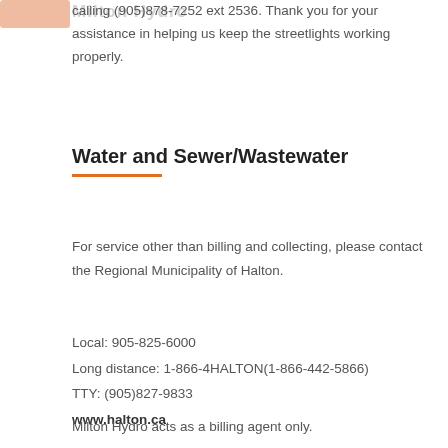calling (905)878-7252 ext 2536. Thank you for your assistance in helping us keep the streetlights working properly.
Water and Sewer/Wastewater
For service other than billing and collecting, please contact the Regional Municipality of Halton.
Local: 905-825-6000
Long distance: 1-866-4HALTON(1-866-442-5866)
TTY: (905)827-9833
www.halton.ca
Milton Hydro acts as a billing agent only.